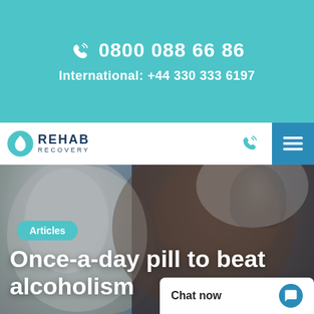0800 088 66 86
International: +44 330 333 6197
[Figure (screenshot): Rehab Recovery website navigation bar with logo]
[Figure (photo): Two people embracing, close-up of faces, indoor setting with chandelier visible in background]
Articles
Once-a-day pill to beat alcoholism
Chat now